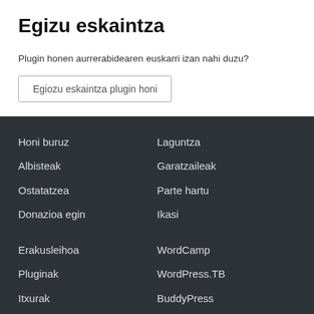Egizu eskaintza
Plugin honen aurrerabidearen euskarri izan nahi duzu?
Egiozu eskaintza plugin honi
Honi buruz
Albisteak
Ostatatzea
Donazioa egin
Laguntza
Garatzaileak
Parte hartu
Ikasi
Erakusleihoa
WordCamp
Pluginak
WordPress.TB
Itxurak
BuddyPress